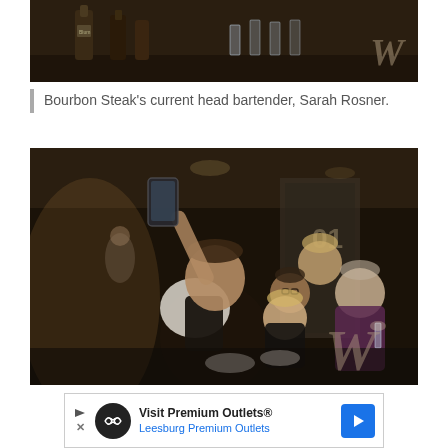[Figure (photo): Top portion of a bar scene at Bourbon Steak, showing bar equipment, bottles and glassware on a dark surface, with a W watermark in the corner.]
Bourbon Steak’s current head bartender, Sarah Rosner.
[Figure (photo): Group selfie photo taken at an indoor event, showing a man in a black vest holding up a phone for a selfie while several women pose behind him smiling, some holding plates of food and glasses of wine. A large W watermark is visible in the lower right corner.]
[Figure (other): Advertisement for Premium Outlets featuring the Leesburg Premium Outlets with logo icons and a blue navigation arrow button.]